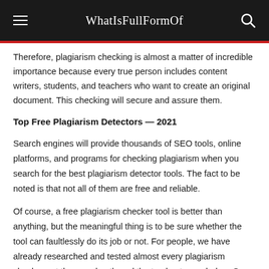WhatIsFullFormOf
Therefore, plagiarism checking is almost a matter of incredible importance because every true person includes content writers, students, and teachers who want to create an original document. This checking will secure and assure them.
Top Free Plagiarism Detectors — 2021
Search engines will provide thousands of SEO tools, online platforms, and programs for checking plagiarism when you search for the best plagiarism detector tools. The fact to be noted is that not all of them are free and reliable.
Of course, a free plagiarism checker tool is better than anything, but the meaningful thing is to be sure whether the tool can faultlessly do its job or not. For people, we have already researched and tested almost every plagiarism checker out there and gathered the top best ones below. So, stop messing around